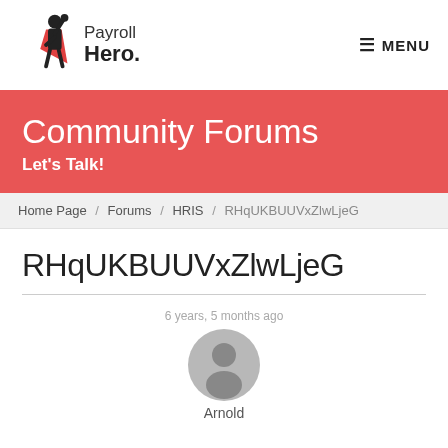Payroll Hero. MENU
Community Forums
Let's Talk!
Home Page / Forums / HRIS / RHqUKBUUVxZlwLjeG
RHqUKBUUVxZlwLjeG
6 years, 5 months ago
[Figure (illustration): User avatar circle icon (gray silhouette of a person)]
Arnold